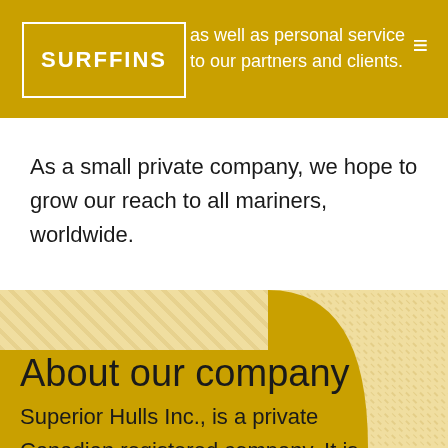SURFFINS — as well as personal service to our partners and clients.
As a small private company, we hope to grow our reach to all mariners, worldwide.
About our company
Superior Hulls Inc., is a private Canadian registered company. It is